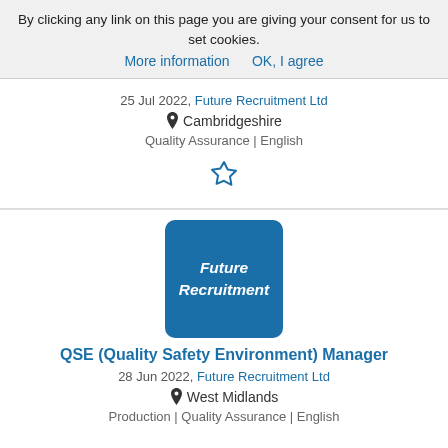By clicking any link on this page you are giving your consent for us to set cookies. More information  OK, I agree
25 Jul 2022, Future Recruitment Ltd
Cambridgeshire
Quality Assurance | English
[Figure (other): Star/bookmark icon (outline star shape in blue)]
[Figure (logo): Future Recruitment company logo box - blue rounded rectangle with white italic bold text 'Future Recruitment']
QSE (Quality Safety Environment) Manager
28 Jun 2022, Future Recruitment Ltd
West Midlands
Production | Quality Assurance | English